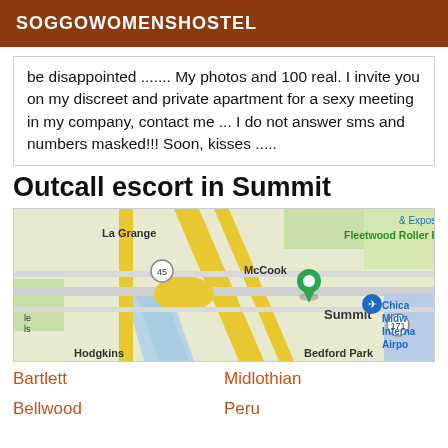SOGGOWOMENSHOSTEL
be disappointed ....... My photos and 100 real. I invite you on my discreet and private apartment for a sexy meeting in my company, contact me ... I do not answer sms and numbers masked!!! Soon, kisses .....
Outcall escort in Summit
[Figure (map): Google Maps view showing Summit, IL area with surrounding areas including La Grange, McCook, Bedford Park, Hodgkins, and Chicago Midway International Airport. A green location pin is placed on Summit.]
Bartlett
Midlothian
Bellwood
Peru